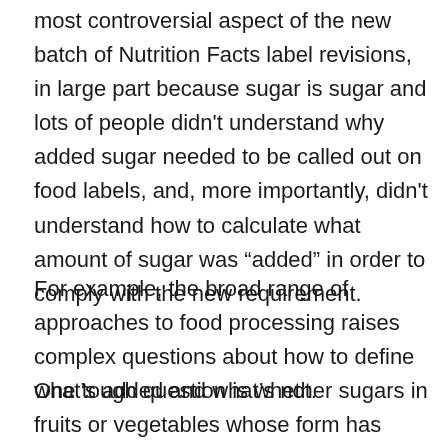most controversial aspect of the new batch of Nutrition Facts label revisions, in large part because sugar is sugar and lots of people didn't understand why added sugar needed to be called out on food labels, and, more importantly, didn't understand how to calculate what amount of sugar was “added” in order to comply with the new requirement.
For example, the broad range of approaches to food processing raises complex questions about how to define what’s added and what’s not.
One tough question is whether sugars in fruits or vegetables whose form has been changed to concentrated purees, pastes, or powders should be considered “added.” In short, FDA said yes, if the ingredient no longer contains all the components of a